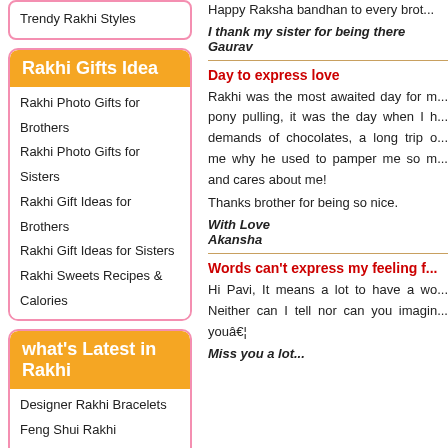Trendy Rakhi Styles
Rakhi Gifts Idea
Rakhi Photo Gifts for Brothers
Rakhi Photo Gifts for Sisters
Rakhi Gift Ideas for Brothers
Rakhi Gift Ideas for Sisters
Rakhi Sweets Recipes & Calories
what's Latest in Rakhi
Designer Rakhi Bracelets
Feng Shui Rakhi
Rakhi Sets
Rakhi Lumba Sets
Rakhi Patrika
Rakhi in Box
Rakhi Fun
Happy Raksha bandhan to every brot...
I thank my sister for being there
Gaurav
Day to express love
Rakhi was the most awaited day for m... pony pulling, it was the day when I h... demands of chocolates, a long trip o... me why he used to pamper me so m... and cares about me!
Thanks brother for being so nice.
With Love
Akansha
Words can't express my feeling f...
Hi Pavi, It means a lot to have a wo... Neither can I tell nor can you imagin... youâ€¦
Miss you a lot...